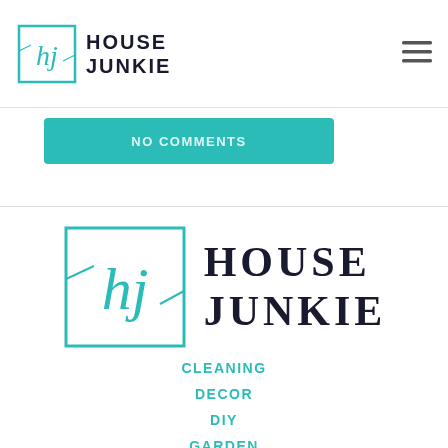[Figure (logo): House Junkie logo in header - teal square with hj script and HOUSE JUNKIE text]
[Figure (logo): Hamburger menu icon (three lines) in top right]
[Figure (other): Teal button partially visible with white uppercase text]
[Figure (logo): Large House Junkie logo centered - teal square with hj script and HOUSE JUNKIE text]
CLEANING
DECOR
DIY
GARDEN
KITCHEN
LAUNDRY
BUYER'S GUIDES
ABOUT US
PRIVACY POLICY